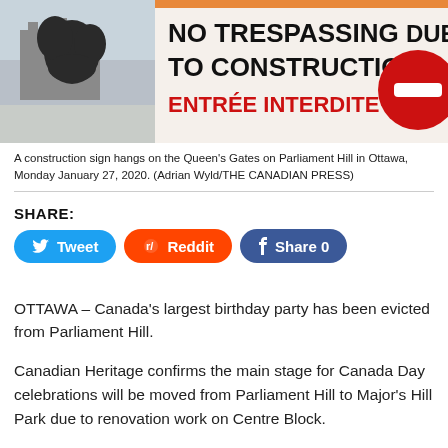[Figure (photo): A construction sign on the Queen's Gates on Parliament Hill in Ottawa reading 'NO TRESPASSING DUE TO CONSTRUCTION' and 'ENTRÉE INTERDITE' with a red no-entry symbol. A dark sculpture silhouette is visible on the left against a winter sky.]
A construction sign hangs on the Queen's Gates on Parliament Hill in Ottawa, Monday January 27, 2020. (Adrian Wyld/THE CANADIAN PRESS)
SHARE:
OTTAWA – Canada's largest birthday party has been evicted from Parliament Hill.
Canadian Heritage confirms the main stage for Canada Day celebrations will be moved from Parliament Hill to Major's Hill Park due to renovation work on Centre Block.